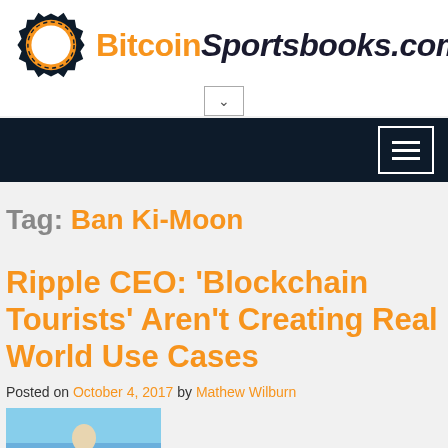[Figure (logo): BitcoinSportsbooks.com logo with Bitcoin gear icon and site name]
Tag: Ban Ki-Moon
Ripple CEO: ‘Blockchain Tourists’ Aren’t Creating Real World Use Cases
Posted on October 4, 2017 by Mathew Wilburn
[Figure (photo): Partial article thumbnail image showing outdoor scene]